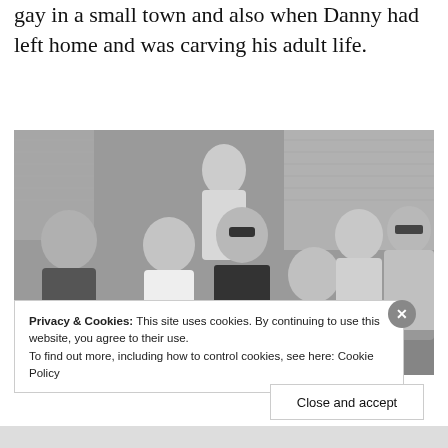gay in a small town and also when Danny had left home and was carving his adult life.
[Figure (photo): Black and white group photo of seven people sitting and standing together indoors, one person wearing a Ramones t-shirt.]
Privacy & Cookies: This site uses cookies. By continuing to use this website, you agree to their use.
To find out more, including how to control cookies, see here: Cookie Policy
Close and accept